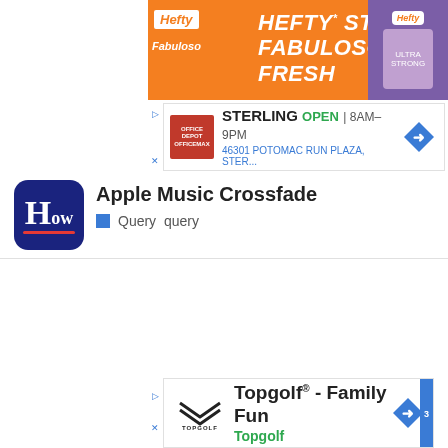[Figure (screenshot): Hefty brand advertisement banner with orange background showing 'HEFTY STRONG, FABULOSO FRESH' with Hefty and Fabuloso logos]
[Figure (screenshot): Office Depot/OfficeMax Sterling store ad showing OPEN 8AM-9PM and address 46301 POTOMAC RUN PLAZA, STER...]
Apple Music Crossfade
Query  query
[Figure (screenshot): Topgolf advertisement showing 'Topgolf® - Family Fun' with Topgolf logo and navigation arrow]